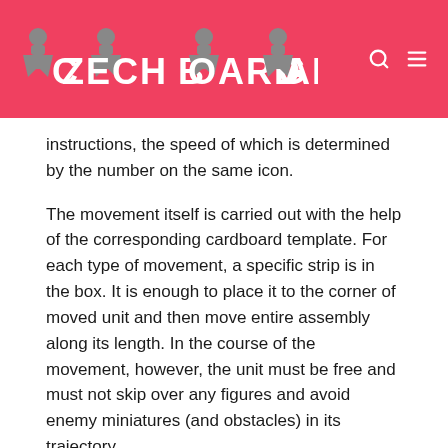CZECH BOARD GAMER
instructions, the speed of which is determined by the number on the same icon.
The movement itself is carried out with the help of the corresponding cardboard template. For each type of movement, a specific strip is in the box. It is enough to place it to the corner of moved unit and then move entire assembly along its length. In the course of the movement, however, the unit must be free and must not skip over any figures and avoid enemy miniatures (and obstacles) in its trajectory.